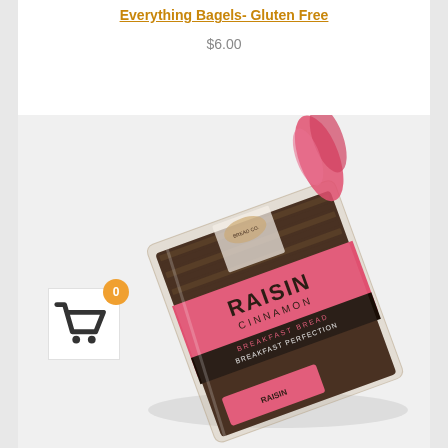Everything Bagels- Gluten Free
$6.00
ADD TO CART
[Figure (photo): A packaged loaf of Raisin Cinnamon bread with a pink and dark label reading 'RAISIN CINNAMON BREAD - BREAKFAST PERFECTION', tied with a pink twist tie at the top. The packaging is transparent showing dark raisin bread slices inside.]
[Figure (infographic): Shopping cart badge showing 0 items, with an orange circle showing '0' count and a basket icon below.]